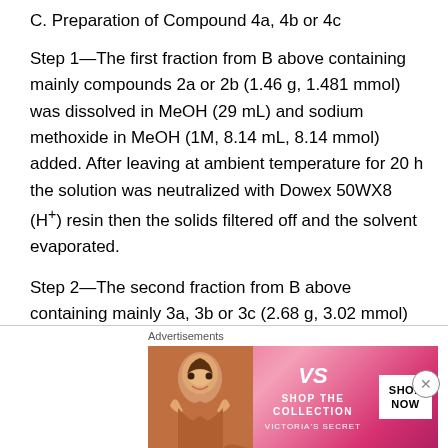C. Preparation of Compound 4a, 4b or 4c
Step 1—The first fraction from B above containing mainly compounds 2a or 2b (1.46 g, 1.481 mmol) was dissolved in MeOH (29 mL) and sodium methoxide in MeOH (1M, 8.14 mL, 8.14 mmol) added. After leaving at ambient temperature for 20 h the solution was neutralized with Dowex 50WX8 (H⁺) resin then the solids filtered off and the solvent evaporated.
Step 2—The second fraction from B above containing mainly 3a, 3b or 3c (2.68 g, 3.02 mmol) was dissolved in MeOH (54 mL) and sodium methoxide in MeOH (1M, 12.10 mL, 12.10 mmol) added. After leaving at ambient
[Figure (other): Victoria's Secret advertisement banner with a model, VS logo, 'SHOP THE COLLECTION' text, and 'SHOP NOW' button on a pink background]